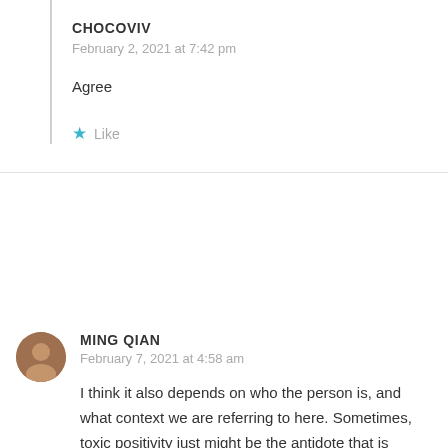CHOCOVIV
February 2, 2021 at 7:42 pm
Agree
Like
MING QIAN
February 7, 2021 at 4:58 am
I think it also depends on who the person is, and what context we are referring to here. Sometimes, toxic positivity just might be the antidote that is needed.